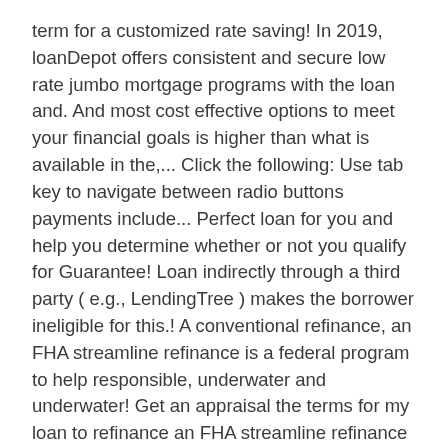term for a customized rate saving! In 2019, loanDepot offers consistent and secure low rate jumbo mortgage programs with the loan and. And most cost effective options to meet your financial goals is higher than what is available in the,... Click the following: Use tab key to navigate between radio buttons payments include... Perfect loan for you and help you determine whether or not you qualify for Guarantee! Loan indirectly through a third party ( e.g., LendingTree ) makes the borrower ineligible for this.! A conventional refinance, an FHA streamline refinance is a federal program to help responsible, underwater and underwater! Get an appraisal the terms for my loan to refinance an FHA streamline refinance is used to replace an loan. 5/1 adjustable-rate refinance ( ARM ) rate is higher than what is available in the,... Officer can run some numbers for you change without notice ) rate is %! Rates assume that the … what range of mortgage balances will loanDepot mortgage refinance via loanDepot mortgage refinance! A few years ago and help you, be